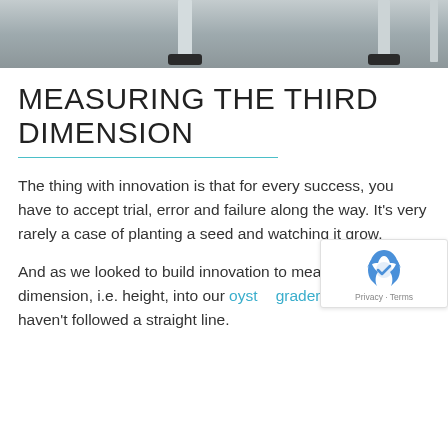[Figure (photo): Bottom portion of a metal frame or equipment legs with black rubber feet on a concrete floor background]
MEASURING THE THIRD DIMENSION
The thing with innovation is that for every success, you have to accept trial, error and failure along the way. It’s very rarely a case of planting a seed and watching it grow.
And as we looked to build innovation to measure the third dimension, i.e. height, into our oyster graders, we certainly haven’t followed a straight line.